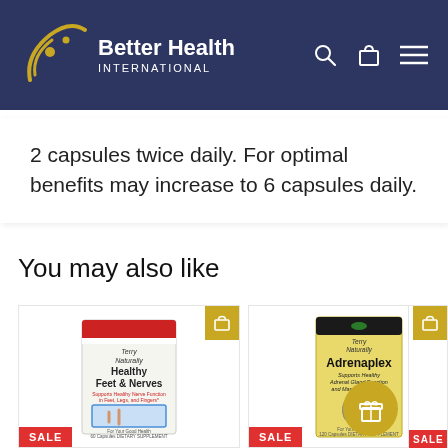Better Health International
2 capsules twice daily. For optimal benefits may increase to 6 capsules daily.
You may also like
[Figure (photo): Product card: Healthy Feet & Nerves supplement with SALE badge]
[Figure (photo): Product card: Adrenaplex supplement with SALE badge]
[Figure (photo): Partially visible third product card with SALE badge]